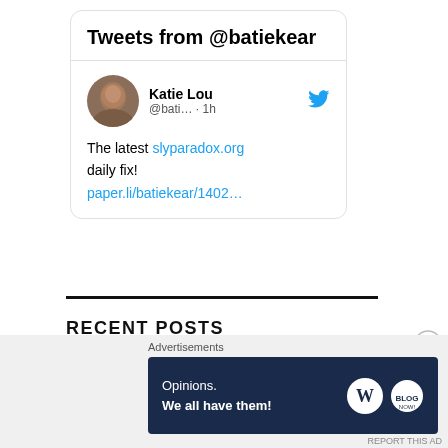[Figure (screenshot): Twitter widget showing 'Tweets from @batiekear' header with a tweet by Katie Lou (@bati... · 1h) containing text: 'The latest slyparadox.org daily fix! paper.li/batiekear/1402...']
RECENT POSTS
[Figure (screenshot): Advertisement banner reading 'Opinions. We all have them!' with WordPress and blog logos, labeled 'Advertisements']